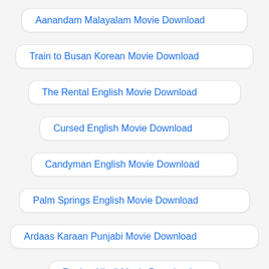Aanandam Malayalam Movie Download
Train to Busan Korean Movie Download
The Rental English Movie Download
Cursed English Movie Download
Candyman English Movie Download
Palm Springs English Movie Download
Ardaas Karaan Punjabi Movie Download
Raabta Hindi Movie Download
Love Aaj Kal 2 Hindi Movie Download